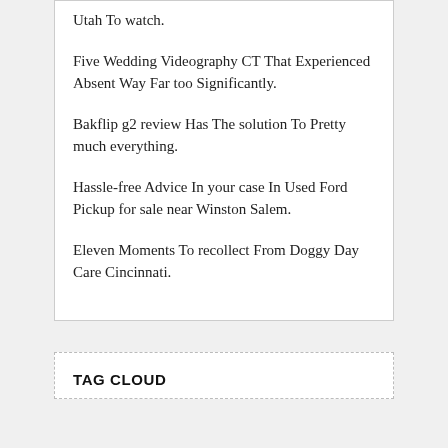Utah To watch.
Five Wedding Videography CT That Experienced Absent Way Far too Significantly.
Bakflip g2 review Has The solution To Pretty much everything.
Hassle-free Advice In your case In Used Ford Pickup for sale near Winston Salem.
Eleven Moments To recollect From Doggy Day Care Cincinnati.
TAG CLOUD